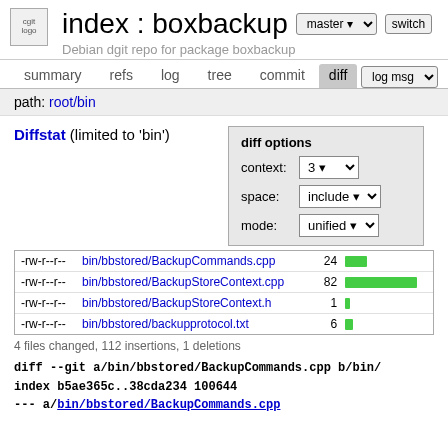index : boxbackup
Debian dgit repo for package boxbackup
summary   refs   log   tree   commit   diff   log msg
path: root/bin
Diffstat (limited to 'bin')
diff options
context: 3
space: include
mode: unified
| permissions | file | count | bar |
| --- | --- | --- | --- |
| -rw-r--r-- | bin/bbstored/BackupCommands.cpp | 24 |  |
| -rw-r--r-- | bin/bbstored/BackupStoreContext.cpp | 82 |  |
| -rw-r--r-- | bin/bbstored/BackupStoreContext.h | 1 |  |
| -rw-r--r-- | bin/bbstored/backupprotocol.txt | 6 |  |
4 files changed, 112 insertions, 1 deletions
diff --git a/bin/bbstored/BackupCommands.cpp b/bin/
index b5ae365c..38cda234 100644
--- a/bin/bbstored/BackupCommands.cpp